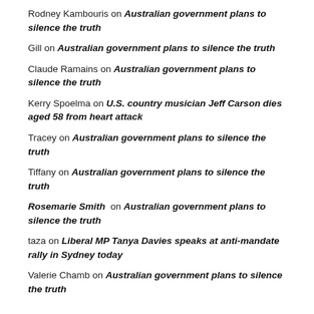Rodney Kambouris on Australian government plans to silence the truth
Gill on Australian government plans to silence the truth
Claude Ramains on Australian government plans to silence the truth
Kerry Spoelma on U.S. country musician Jeff Carson dies aged 58 from heart attack
Tracey on Australian government plans to silence the truth
Tiffany on Australian government plans to silence the truth
Rosemarie Smith on Australian government plans to silence the truth
taza on Liberal MP Tanya Davies speaks at anti-mandate rally in Sydney today
Valerie Chamb on Australian government plans to silence the truth